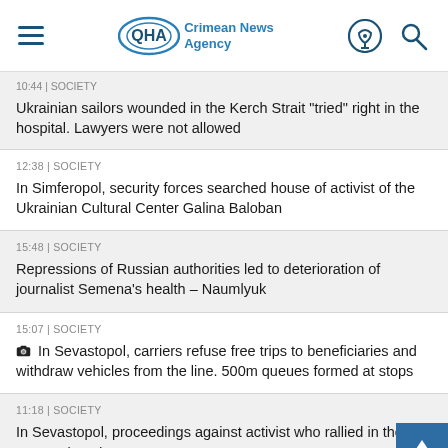QHA Crimean News Agency
Ukrainian sailors wounded in the Kerch Strait "tried" right in the hospital. Lawyers were not allowed
12:38 | SOCIETY
In Simferopol, security forces searched house of activist of the Ukrainian Cultural Center Galina Baloban
15:48 | SOCIETY
Repressions of Russian authorities led to deterioration of journalist Semena’s health – Naumlyuk
15:07 | SOCIETY
In Sevastopol, carriers refuse free trips to beneficiaries and withdraw vehicles from the line. 500m queues formed at stops
11:18 | SOCIETY
In Sevastopol, proceedings against activist who rallied in the city center closed
10:47 | POLITICS